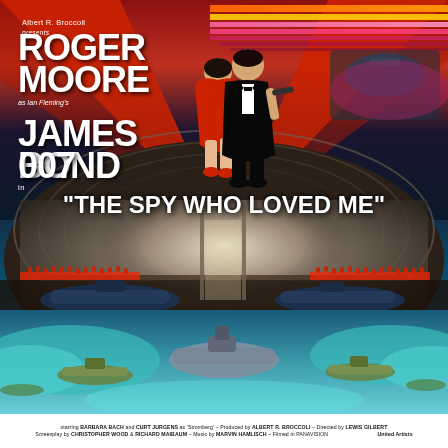[Figure (illustration): Movie poster for 'The Spy Who Loved Me' (1977 James Bond film). Top portion shows bold red V-shaped rays with orange/multicolored horizontal stripes in upper right. A man in black tuxedo holds a woman in red dress in front of a dramatic villain's submarine base interior (large domed hangar with submarines and crowds). Lower section shows aerial/nautical battle scene with submarines, futuristic vehicles, teal water and clouds. Left side has large white text credits.]
Albert R. Broccoli presents
ROGER MOORE
as Ian Fleming's
JAMES BOND 007
"THE SPY WHO LOVED ME"
starring BARBARA BACH and CURT JURGENS as 'Stromberg' - Produced by ALBERT R. BROCCOLI - Directed by LEWIS GILBERT
Screenplay by CHRISTOPHER WOOD & RICHARD MAIBAUM - Music by MARVIN HAMLISCH - Filmed in PANAVISION - United Artists